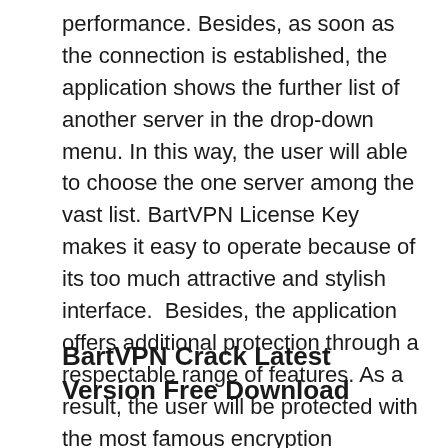performance. Besides, as soon as the connection is established, the application shows the further list of another server in the drop-down menu. In this way, the user will able to choose the one server among the vast list. BartVPN License Key makes it easy to operate because of its too much attractive and stylish interface.  Besides, the application offers additional protection through a respectable range of features. As a result, the user will be protected with the most famous encryption technique, which is known as 256bit encryption.
BartVPN Crack Latest Version Free Download